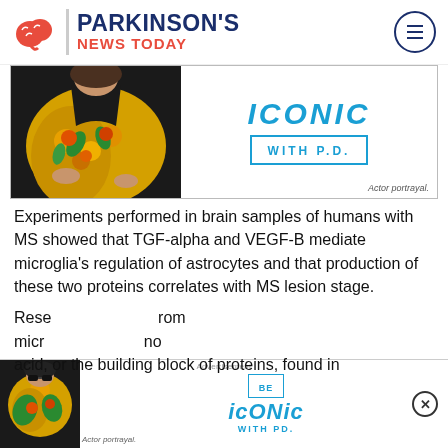PARKINSON'S NEWS TODAY
[Figure (photo): Advertisement banner showing person in colorful floral dress with 'BE ICONIC WITH P.D.' text and actor portrayal label]
Experiments performed in brain samples of humans with MS showed that TGF-alpha and VEGF-B mediate microglia's regulation of astrocytes and that production of these two proteins correlates with MS lesion stage.
Researchers found that... from microglia... amino acid, or the building block of proteins, found in
[Figure (photo): Small overlay advertisement showing person in colorful outfit with 'BE ICONIC WITH P.D.' branding and Actor portrayal label]